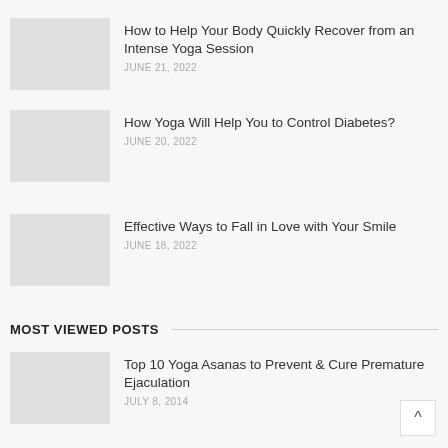How to Help Your Body Quickly Recover from an Intense Yoga Session
JUNE 21, 2022
How Yoga Will Help You to Control Diabetes?
JUNE 20, 2022
Effective Ways to Fall in Love with Your Smile
JUNE 18, 2022
MOST VIEWED POSTS
Top 10 Yoga Asanas to Prevent & Cure Premature Ejaculation
JULY 8, 2014